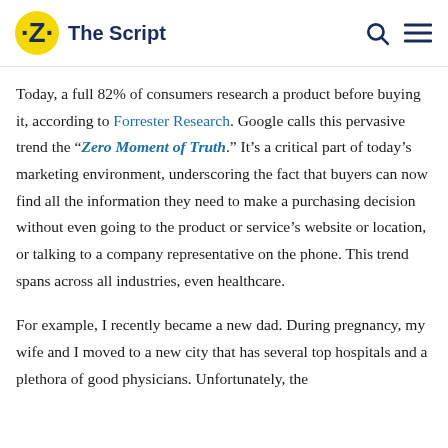The Script
Today, a full 82% of consumers research a product before buying it, according to Forrester Research. Google calls this pervasive trend the “Zero Moment of Truth.” It’s a critical part of today’s marketing environment, underscoring the fact that buyers can now find all the information they need to make a purchasing decision without even going to the product or service’s website or location, or talking to a company representative on the phone. This trend spans across all industries, even healthcare.
For example, I recently became a new dad. During pregnancy, my wife and I moved to a new city that has several top hospitals and a plethora of good physicians. Unfortunately, the